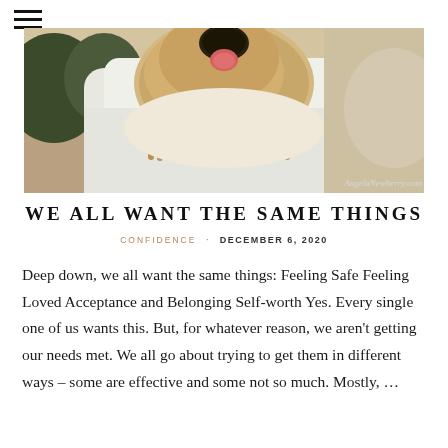[Figure (photo): A person in a white shirt holding a golden retriever or labrador puppy close to their shoulder, the dog licking or nuzzling their face. Outdoor background with warm light. Watermark reads 'AngelaNewberry.com'.]
WE ALL WANT THE SAME THINGS
CONFIDENCE · DECEMBER 6, 2020
Deep down, we all want the same things: Feeling Safe Feeling Loved Acceptance and Belonging Self-worth Yes. Every single one of us wants this. But, for whatever reason, we aren't getting our needs met. We all go about trying to get them in different ways – some are effective and some not so much. Mostly, …